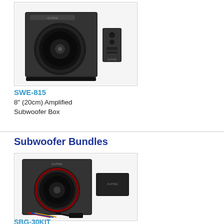[Figure (photo): SWE-815 amplified subwoofer box product photo showing black carpeted subwoofer enclosure with woofer driver, a remote control unit, and a flat bass bar component]
SWE-815
8" (20cm) Amplified Subwoofer Box
Subwoofer Bundles
[Figure (photo): SBG-30KIT subwoofer bundle product photo showing black carpeted subwoofer box with woofer, an amplifier unit, wiring kit with blue/red cables, and remote control]
SBG-30KIT